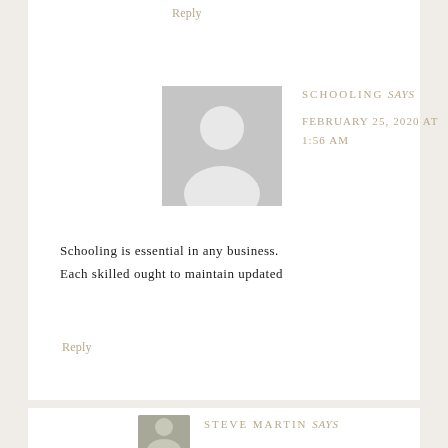Reply
[Figure (illustration): Generic user avatar placeholder: grey square with white silhouette of a person (circle head and shoulders)]
SCHOOLING says
FEBRUARY 25, 2020 AT 1:56 AM
Schooling is essential in any business. Each skilled ought to maintain updated
Reply
[Figure (photo): Partial photo of Steve Martin commenter avatar, partially visible at bottom of page]
STEVE MARTIN says